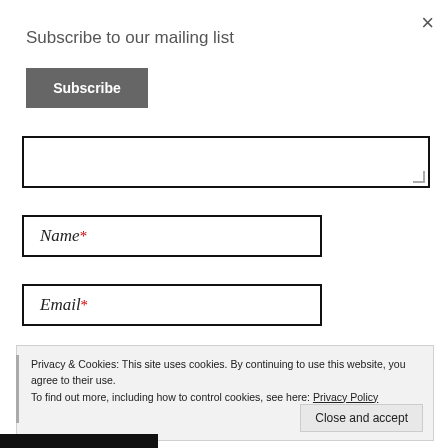Subscribe to our mailing list
Subscribe
[Figure (other): Text area input box (partially visible, with resize handle)]
Name*
Email*
Privacy & Cookies: This site uses cookies. By continuing to use this website, you agree to their use. To find out more, including how to control cookies, see here: Privacy Policy
Close and accept